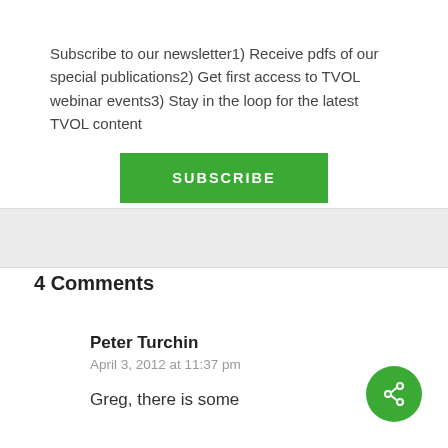Subscribe to our newsletter1) Receive pdfs of our special publications2) Get first access to TVOL webinar events3) Stay in the loop for the latest TVOL content
SUBSCRIBE
4 Comments
Peter Turchin
April 3, 2012 at 11:37 pm
Greg, there is some